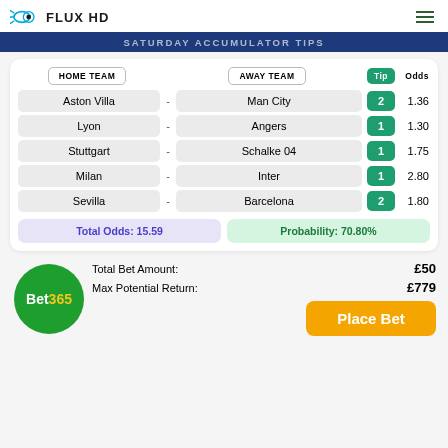FLUX HD
SATURDAY ACCUMULATOR TIPS
| HOME TEAM |  | AWAY TEAM | Tip | Odds |
| --- | --- | --- | --- | --- |
| Aston Villa | - | Man City | 2 | 1.36 |
| Lyon | - | Angers | 1 | 1.30 |
| Stuttgart | - | Schalke 04 | 1 | 1.75 |
| Milan | - | Inter | 1 | 2.80 |
| Sevilla | - | Barcelona | 2 | 1.80 |
Total Odds: 15.59
Probability: 70.80%
Bet365
Total Bet Amount: £50
Max Potential Return: £779
Place Bet